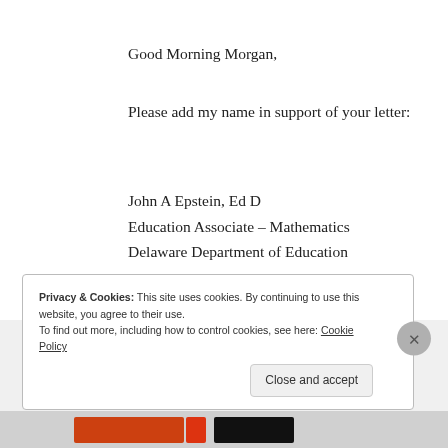[Figure (logo): Green logo with white geometric arrow/triangle shapes]
Good Morning Morgan,
Please add my name in support of your letter:
John A Epstein, Ed D
Education Associate – Mathematics
Delaware Department of Education
★ Like
Reply
Privacy & Cookies: This site uses cookies. By continuing to use this website, you agree to their use.
To find out more, including how to control cookies, see here: Cookie Policy
Close and accept